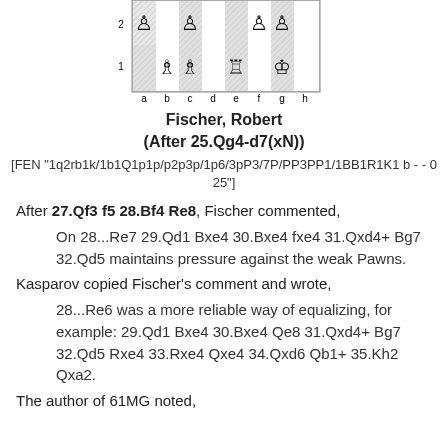[Figure (other): Chess board diagram showing a position after 25.Qg4-d7(xN). The board shows rank 1 and rank 2 visible with white pieces including bishops on b1 and c1, rook on e1, king on g1, and pawns on a2, b2, g2, h2 among others. File labels a through h shown at bottom.]
Fischer, Robert
(After 25.Qg4-d7(xN))
[FEN "1q2rb1k/1b1Q1p1p/p2p3p/1p6/3pP3/7P/PP3PP1/1BB1R1K1 b - - 0 25"]
After 27.Qf3 f5 28.Bf4 Re8, Fischer commented,
On 28...Re7 29.Qd1 Bxe4 30.Bxe4 fxe4 31.Qxd4+ Bg7 32.Qd5 maintains pressure against the weak Pawns.
Kasparov copied Fischer's comment and wrote,
28...Re6 was a more reliable way of equalizing, for example: 29.Qd1 Bxe4 30.Bxe4 Qe8 31.Qxd4+ Bg7 32.Qd5 Rxe4 33.Rxe4 Qxe4 34.Qxd6 Qb1+ 35.Kh2 Qxa2.
The author of 61MG noted,